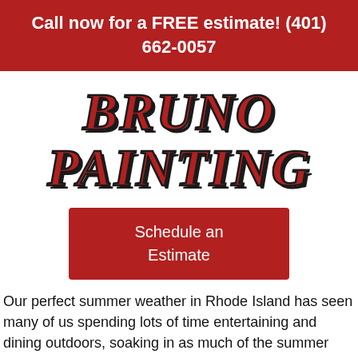Call now for a FREE estimate! (401) 662-0057
BRUNO PAINTING
Schedule an Estimate
Our perfect summer weather in Rhode Island has seen many of us spending lots of time entertaining and dining outdoors, soaking in as much of the summer sun and air as possible. No matter where in our great state your home is located, a nice, well-appointed deck is a